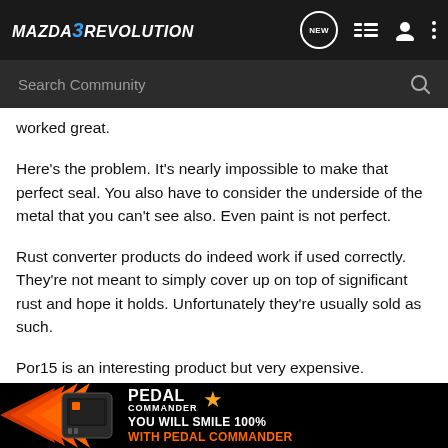MAZDA3REVOLUTION — navigation bar with Search Community
worked great.
Here's the problem. It's nearly impossible to make that perfect seal. You also have to consider the underside of the metal that you can't see also. Even paint is not perfect.
Rust converter products do indeed work if used correctly. They're not meant to simply cover up on top of significant rust and hope it holds. Unfortunately they're usually sold as such.
Por15 is an interesting product but very expensive.
The respray is a great option if you want to pay for it but don't get the [ad] se it is insanely [ad]
[Figure (screenshot): Pedal Commander advertisement banner with orange arrow graphic and text: YOU WILL SMILE 100% WITH PEDAL COMMANDER]